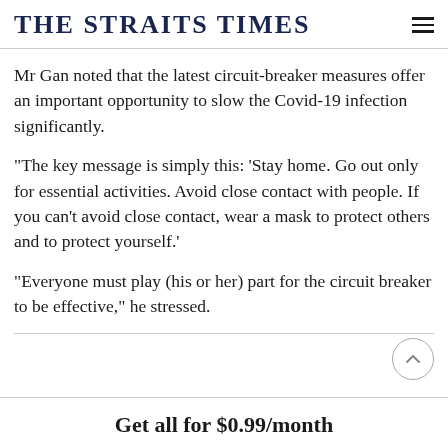THE STRAITS TIMES
Mr Gan noted that the latest circuit-breaker measures offer an important opportunity to slow the Covid-19 infection significantly.
"The key message is simply this: 'Stay home. Go out only for essential activities. Avoid close contact with people. If you can't avoid close contact, wear a mask to protect others and to protect yourself.'
"Everyone must play (his or her) part for the circuit breaker to be effective," he stressed.
Get all for $0.99/month